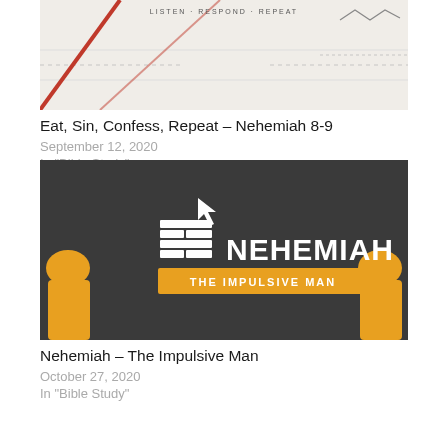[Figure (illustration): Cropped map image with red diagonal lines and a beige/white background, text LISTEN RESPOND REPEAT at top center]
Eat, Sin, Confess, Repeat – Nehemiah 8-9
September 12, 2020
In "Bible Study"
[Figure (illustration): Dark grey background with brick wall and cursor icon graphic, text NEHEMIAH in large white letters, subtitle THE IMPULSIVE MAN in orange banner, two silhouette figures on sides]
Nehemiah – The Impulsive Man
October 27, 2020
In "Bible Study"